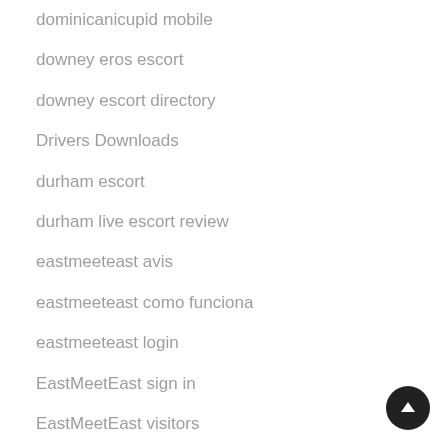dominicanicupid mobile
downey eros escort
downey escort directory
Drivers Downloads
durham escort
durham live escort review
eastmeeteast avis
eastmeeteast como funciona
eastmeeteast login
EastMeetEast sign in
EastMeetEast visitors
ebonyflirt dating
ebonyflirt mobile site
ebonyflirt web